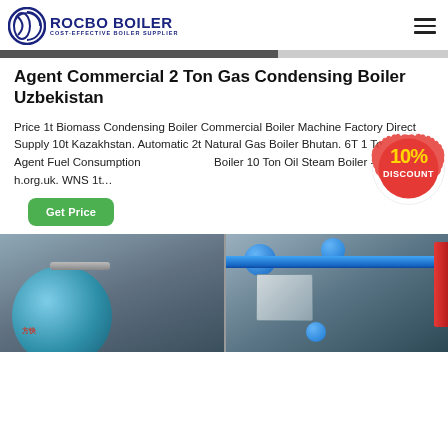ROCBO BOILER - COST-EFFECTIVE BOILER SUPPLIER
Agent Commercial 2 Ton Gas Condensing Boiler Uzbekistan
Price 1t Biomass Condensing Boiler Commercial Boiler Machine Factory Direct Supply 10t Kazakhstan. Automatic 2t Natural Gas Boiler Bhutan. 6T 1 Ton Boiler Agent Fuel Consumption Boiler 10 Ton Oil Steam Boiler - cmp-h.org.uk. WNS 1t...
[Figure (other): 10% DISCOUNT promotional badge/stamp overlaid on the text]
[Figure (photo): Two industrial boiler photos side by side: left shows a large blue cylindrical boiler with Chinese text markings, right shows industrial piping and boiler equipment with blue pipes and red accent]
Get Price